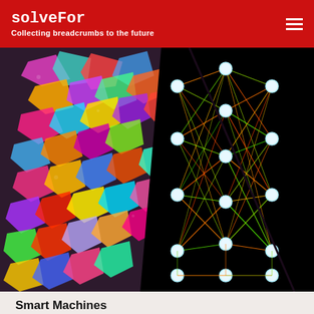solveFor
Collecting breadcrumbs to the future
[Figure (illustration): Split composite image: left half shows a colorful microscopy image of biological tissue with multicolored polygonal cells (red, green, blue, yellow, magenta) on a dark background; right half shows a neural network diagram with glowing white circular nodes connected by bright orange, yellow, and green lines on a black background]
Smart Machines